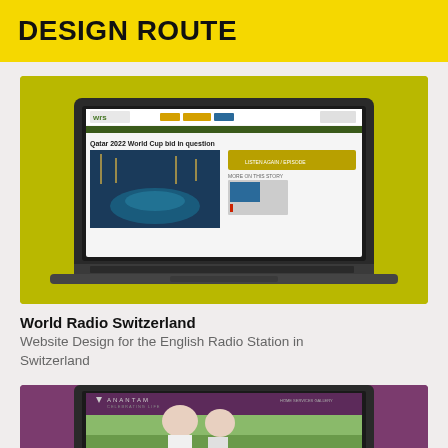DESIGN ROUTE
[Figure (screenshot): Laptop displaying World Radio Switzerland (WRS) website with article 'Qatar 2022 World Cup bid in question', shown on a yellow-green background]
World Radio Switzerland
Website Design for the English Radio Station in Switzerland
[Figure (screenshot): Tablet or laptop showing Anantam website with purple header and elderly couple in an outdoor scene, partially visible]